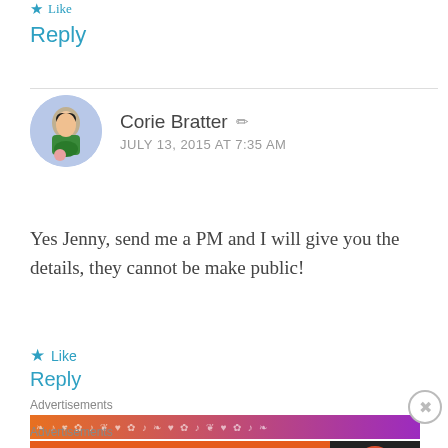★ Like
Reply
Corie Bratter  JULY 13, 2015 AT 7:35 AM
Yes Jenny, send me a PM and I will give you the details, they cannot be make public!
★ Like
Reply
Advertisements
[Figure (other): Advertisement banner with gradient orange to purple with decorative pattern]
Advertisements
[Figure (other): DuckDuckGo advertisement: Search, browse, and email with more privacy. All in One Free App]